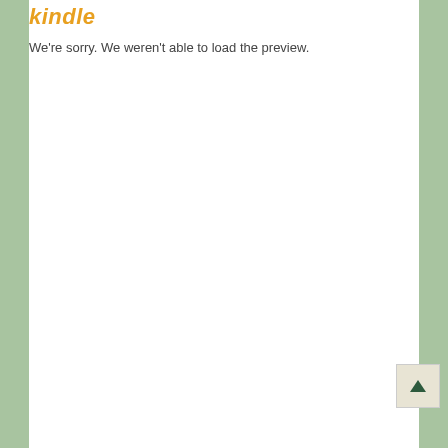kindle
We're sorry. We weren't able to load the preview.
[Figure (other): Scroll to top button with upward arrow on beige background]